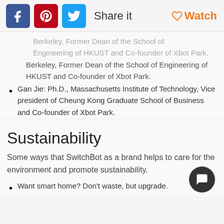Share it   Watch
Berkeley, Former Dean of the School of Engineering of HKUST and Co-founder of Xbot Park.
Gan Jie: Ph.D., Massachusetts Institute of Technology, Vice president of Cheung Kong Graduate School of Business and Co-founder of Xbot Park.
Sustainability
Some ways that SwitchBot as a brand helps to care for the environment and promote sustainability.
Want smart home? Don't waste, but upgrade.